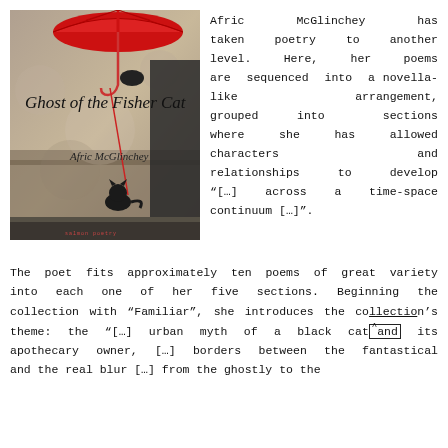[Figure (illustration): Book cover of 'Ghost of the Fisher Cat' by Afric McGlinchey, showing a person holding a red umbrella with a fishing line descending to a black cat below, against a weathered wall background.]
Afric McGlinchey has taken poetry to another level. Here, her poems are sequenced into a novella-like arrangement, grouped into sections where she has allowed characters and relationships to develop "[...] across a time-space continuum [...]".
The poet fits approximately ten poems of great variety into each one of her five sections. Beginning the collection with “Familiar”, she introduces the collection’s theme: the “[…] urban myth of a black cat and its apothecary owner, […] borders between the fantastical and the real blur […] from the ghostly to the